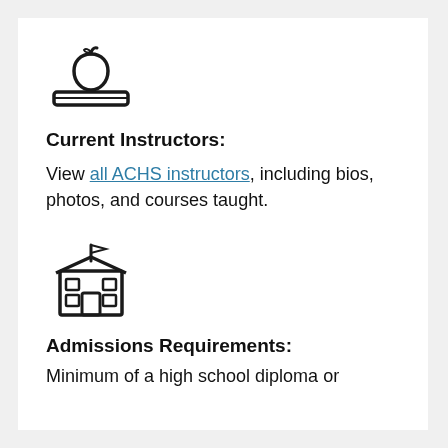[Figure (illustration): Icon of an apple sitting on top of a laptop/tablet device, outline style]
Current Instructors:
View all ACHS instructors, including bios, photos, and courses taught.
[Figure (illustration): Icon of a school building with a flag on top, outline style]
Admissions Requirements:
Minimum of a high school diploma or